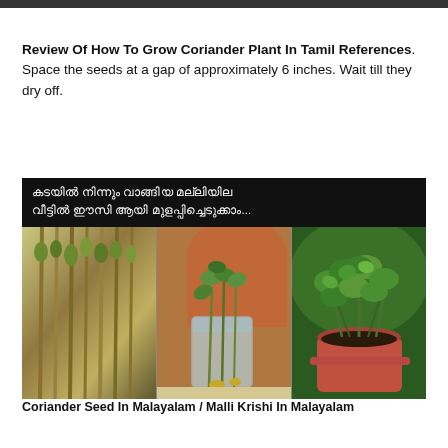Review Of How To Grow Coriander Plant In Tamil References. Space the seeds at a gap of approximately 6 inches. Wait till they dry off.
[Figure (photo): Photo collage showing coriander/malli plant growing steps with Malayalam text overlay: 'കടയില്‍ നിന്നും വാങ്ങിയ മല്ലിയില വീട്ടില്‍ ഈസി ആയി മുളപ്പിച്ചെടുക്കാം...' Three panels showing: bundle of fresh coriander stalks, coriander sprouting in a glass of water, coriander growing in a red pot.]
Coriander Seed In Malayalam / Malli Krishi In Malayalam